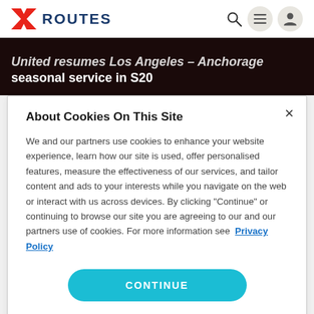[Figure (logo): Routes logo with red arrow/bowtie icon and dark blue bold text ROUTES]
Routes navigation bar with logo, search icon, menu icon, and user icon
United resumes Los Angeles – Anchorage seasonal service in S20
About Cookies On This Site
We and our partners use cookies to enhance your website experience, learn how our site is used, offer personalised features, measure the effectiveness of our services, and tailor content and ads to your interests while you navigate on the web or interact with us across devices. By clicking "Continue" or continuing to browse our site you are agreeing to our and our partners use of cookies. For more information see Privacy Policy